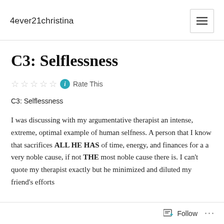4ever21christina
C3: Selflessness
Rate This
C3: Selflessness
I was discussing with my argumentative therapist an intense, extreme, optimal example of human selfness. A person that I know that sacrifices ALL HE HAS of time, energy, and finances for a a very noble cause, if not THE most noble cause there is. I can't quote my therapist exactly but he minimized and diluted my friend's efforts
Follow